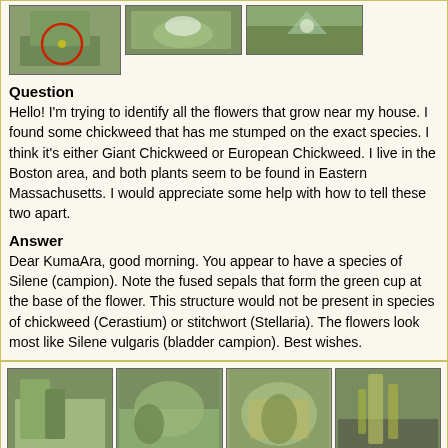[Figure (photo): Three photos of a plant with flowers: leftmost shows a red circle highlighting a flower, middle and right show close-ups of the plant.]
Question
Hello! I'm trying to identify all the flowers that grow near my house. I found some chickweed that has me stumped on the exact species. I think it's either Giant Chickweed or European Chickweed. I live in the Boston area, and both plants seem to be found in Eastern Massachusetts. I would appreciate some help with how to tell these two apart.
Answer
Dear KumaAra, good morning. You appear to have a species of Silene (campion). Note the fused sepals that form the green cup at the base of the flower. This structure would not be present in species of chickweed (Cerastium) or stitchwort (Stellaria). The flowers look most like Silene vulgaris (bladder campion). Best wishes.
[Figure (photo): Four photos of green leafy plants, possibly Silene species, arranged in a horizontal row.]